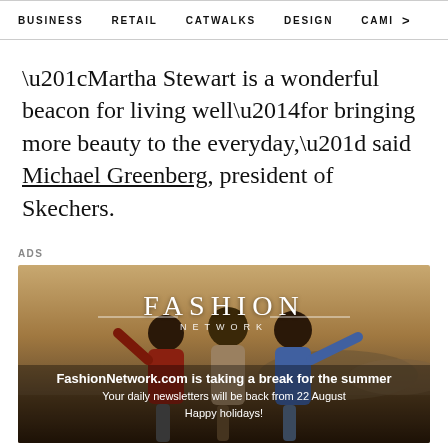BUSINESS   RETAIL   CATWALKS   DESIGN   CAMI >
“Martha Stewart is a wonderful beacon for living well—for bringing more beauty to the everyday,” said Michael Greenberg, president of Skechers.
ADS
[Figure (illustration): FashionNetwork.com advertisement banner showing three people from behind in a field. Text reads: FASHION NETWORK. FashionNetwork.com is taking a break for the summer. Your daily newsletters will be back from 22 August. Happy holidays!]